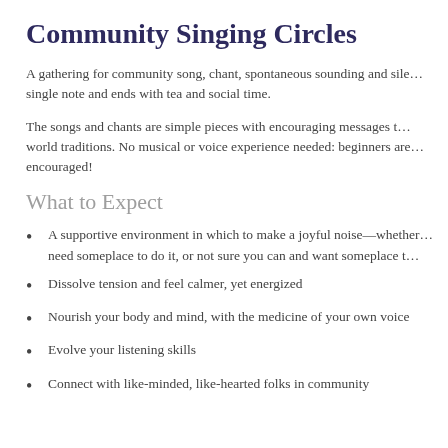Community Singing Circles
A gathering for community song, chant, spontaneous sounding and silence. It begins with a single note and ends with tea and social time.
The songs and chants are simple pieces with encouraging messages that draw from a range of world traditions. No musical or voice experience needed: beginners are especially encouraged!
What to Expect
A supportive environment in which to make a joyful noise—whether you know you love to sing and need someplace to do it, or not sure you can and want someplace to
Dissolve tension and feel calmer, yet energized
Nourish your body and mind, with the medicine of your own voice
Evolve your listening skills
Connect with like-minded, like-hearted folks in community